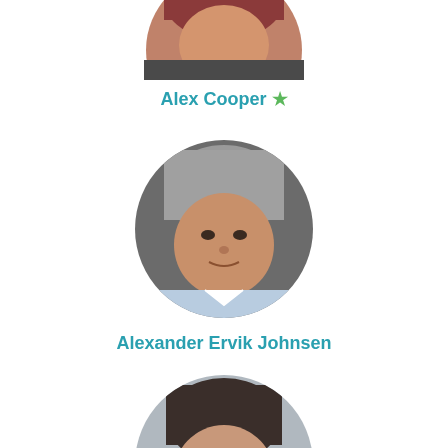[Figure (photo): Circular cropped profile photo of Alex Cooper, partially visible at top of page]
Alex Cooper ★
[Figure (photo): Circular cropped profile photo of Alexander Ervik Johnsen, middle-aged man with grey hair, light blue shirt]
Alexander Ervik Johnsen
[Figure (photo): Circular cropped profile photo of a young man with glasses and blue checkered shirt, partially visible at bottom of page]